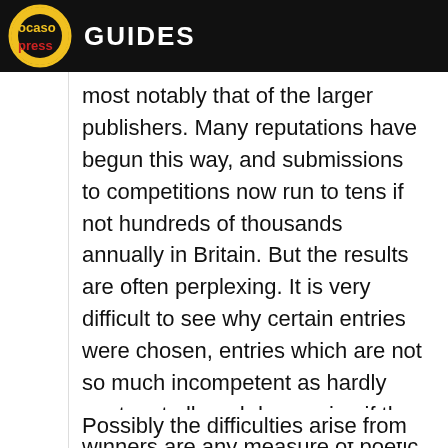ocaso press GUIDES
most notably that of the larger publishers. Many reputations have begun this way, and submissions to competitions now run to tens if not hundreds of thousands annually in Britain. But the results are often perplexing. It is very difficult to see why certain entries were chosen, entries which are not so much incompetent as hardly poetry at all, and depressing if the winners are any measure of poetic standards.
Possibly the difficulties arise from